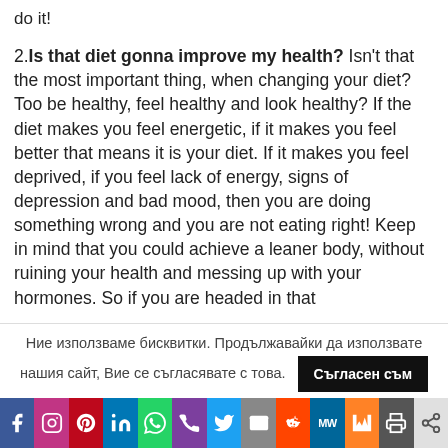do it!
2. Is that diet gonna improve my health? Isn't that the most important thing, when changing your diet? Too be healthy, feel healthy and look healthy? If the diet makes you feel energetic, if it makes you feel better that means it is your diet. If it makes you feel deprived, if you feel lack of energy, signs of depression and bad mood, then you are doing something wrong and you are not eating right! Keep in mind that you could achieve a leaner body, without ruining your health and messing up with your hormones. So if you are headed in that
Ние използваме бисквитки. Продължавайки да използвате нашия сайт, Вие се съгласявате с това.
f | Instagram | P | in | WhatsApp | Phone | Twitter | Mail | Reddit | MW | Mix | Print | Share